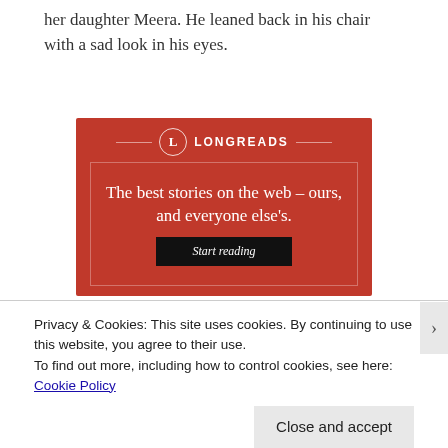her daughter Meera. He leaned back in his chair with a sad look in his eyes.
[Figure (advertisement): Longreads advertisement banner with red background, circle logo with 'L', tagline 'The best stories on the web – ours, and everyone else's.' and a 'Start reading' button]
Privacy & Cookies: This site uses cookies. By continuing to use this website, you agree to their use.
To find out more, including how to control cookies, see here: Cookie Policy
Close and accept